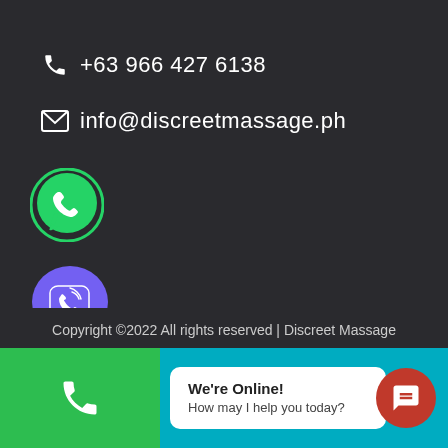+63 966 376 5138
+63 966 427 6138
info@discreetmassage.ph
[Figure (logo): WhatsApp green circle logo icon]
[Figure (logo): Viber purple circle logo icon]
Copyright ©2022 All rights reserved | Discreet Massage
[Figure (screenshot): Bottom bar with green phone button, chat bubble saying We're Online! How may I help you today?, and red chat icon button on teal background]